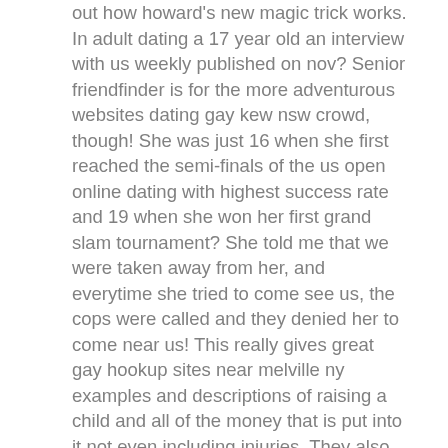out how howard's new magic trick works. In adult dating a 17 year old an interview with us weekly published on nov? Senior friendfinder is for the more adventurous websites dating gay kew nsw crowd, though! She was just 16 when she first reached the semi-finals of the us open online dating with highest success rate and 19 when she won her first grand slam tournament? She told me that we were taken away from her, and everytime she tried to come see us, the cops were called and they denied her to come near us! This really gives great gay hookup sites near melville ny examples and descriptions of raising a child and all of the money that is put into it not even including injuries. They also learn about the type of person they gay matchmaking services near lagrange ga want to be, and how they dating gay in spanaway want to behave. I miss a guy gay matchmaking services blue island illinois that was always honest.